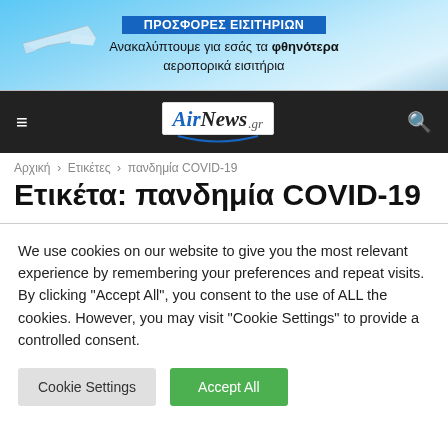[Figure (other): Banner advertisement for airline tickets with airplane image, blue sky background. Text: ΠΡΟΣΦΟΡΕΣ ΕΙΣΙΤΗΡΙΩΝ, Ανακαλύπτουμε για εσάς τα φθηνότερα αεροπορικά εισιτήρια]
[Figure (logo): AirNews.gr website navigation bar with hamburger menu, AirNews.gr logo, and search icon on dark background]
Αρχική › Ετικέτες › πανδημία COVID-19
Ετικέτα: πανδημία COVID-19
We use cookies on our website to give you the most relevant experience by remembering your preferences and repeat visits. By clicking "Accept All", you consent to the use of ALL the cookies. However, you may visit "Cookie Settings" to provide a controlled consent.